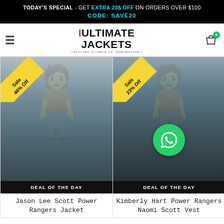TODAY'S SPECIAL - GET EXTRA 20$ OFF ON ORDERS OVER $100 CODE: SAVE20
[Figure (logo): Ultimate Jackets logo with hamburger menu and shopping cart icon showing 0 items]
[Figure (photo): Jason Lee Scott Power Rangers Jacket product photo, man standing outdoors in grey jacket and orange shirt, Sale 46% Off badge]
DEAL OF THE DAY
Jason Lee Scott Power Rangers Jacket
[Figure (photo): Kimberly Hart Power Rangers Naomi Scott Vest product photo, woman in black leather vest, Sale 23% Off badge]
DEAL OF THE DAY
Kimberly Hart Power Rangers Naomi Scott Vest